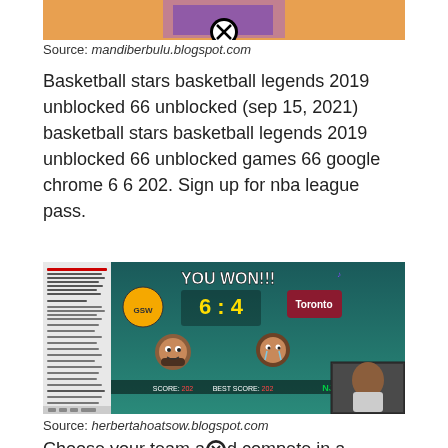[Figure (screenshot): Top portion of a basketball game screenshot partially visible at the top of the page, with a close/X button overlay]
Source: mandiberbulu.blogspot.com
Basketball stars basketball legends 2019 unblocked 66 unblocked (sep 15, 2021) basketball stars basketball legends 2019 unblocked 66 unblocked games 66 google chrome 6 6 202. Sign up for nba league pass.
[Figure (screenshot): Screenshot of a basketball video game showing 'YOU WON!!!' with score 6:4, featuring cartoon basketball player characters, Toronto team logo, and a small webcam video of a person in the corner]
Source: herbertahoatsow.blogspot.com
Choose your team and compete in a